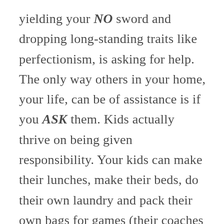yielding your NO sword and dropping long-standing traits like perfectionism, is asking for help. The only way others in your home, your life, can be of assistance is if you ASK them. Kids actually thrive on being given responsibility. Your kids can make their lunches, make their beds, do their own laundry and pack their own bags for games (their coaches actually encourage this). Your partner needs to know you need support and help, you can't resent them if you haven't used your words to express your needs. (If you have expressed yourself and they don't help then you have my permission to